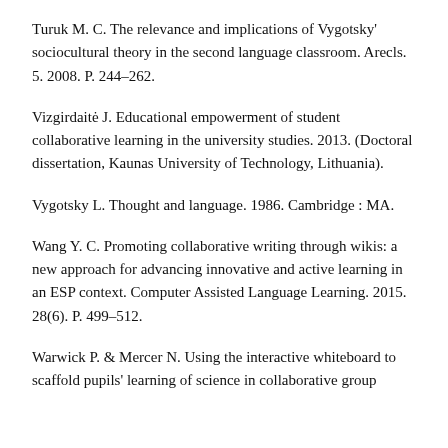Turuk M. C. The relevance and implications of Vygotsky' sociocultural theory in the second language classroom. Arecls. 5. 2008. P. 244–262.
Vizgirdaitė J. Educational empowerment of student collaborative learning in the university studies. 2013. (Doctoral dissertation, Kaunas University of Technology, Lithuania).
Vygotsky L. Thought and language. 1986. Cambridge : MA.
Wang Y. C. Promoting collaborative writing through wikis: a new approach for advancing innovative and active learning in an ESP context. Computer Assisted Language Learning. 2015. 28(6). P. 499–512.
Warwick P. & Mercer N. Using the interactive whiteboard to scaffold pupils' learning of science in collaborative group